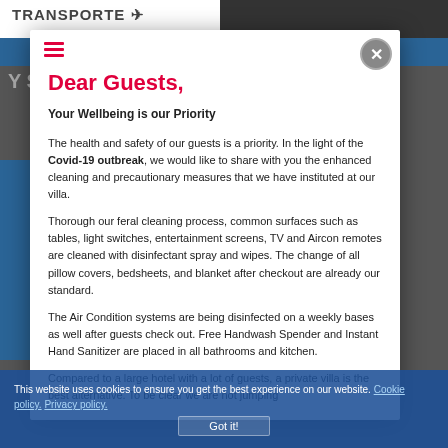TRANSPORTE
Dear Guests,
Your Wellbeing is our Priority
The health and safety of our guests is a priority. In the light of the Covid-19 outbreak, we would like to share with you the enhanced cleaning and precautionary measures that we have instituted at our villa.
Thorough our feral cleaning process, common surfaces such as tables, light switches, entertainment screens, TV and Aircon remotes are cleaned with disinfectant spray and wipes. The change of all pillow covers, bedsheets, and blanket after checkout are already our standard.
The Air Condition systems are being disinfected on a weekly bases as well after guests check out. Free Handwash Spender and Instant Hand Sanitizer are placed in all bathrooms and kitchen.
Compared to a large hotel with a lot of guests, a private villa is the best alternative. To be clear we are not jumping
This website uses cookies to ensure you get the best experience on our website. Cookie policy. Privacy policy.
Got it!